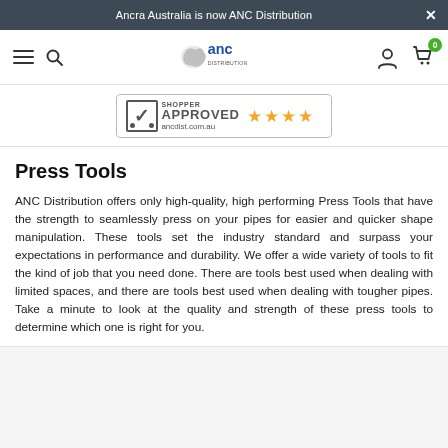Ancra Australia is now ANC Distribution
[Figure (logo): ANC Distribution navigation bar with hamburger menu, search icon, ANC logo, user icon, and cart icon with badge showing 0]
[Figure (logo): Shopper Approved badge with 4 gold stars and website ancdist.com.au]
Press Tools
ANC Distribution offers only high-quality, high performing Press Tools that have the strength to seamlessly press on your pipes for easier and quicker shape manipulation. These tools set the industry standard and surpass your expectations in performance and durability. We offer a wide variety of tools to fit the kind of job that you need done. There are tools best used when dealing with limited spaces, and there are tools best used when dealing with tougher pipes. Take a minute to look at the quality and strength of these press tools to determine which one is right for you.